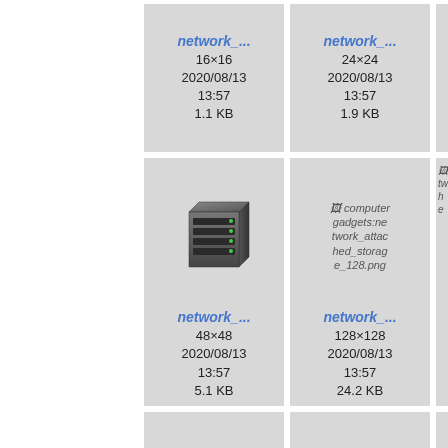[Figure (screenshot): File browser grid showing network_attached_storage icon files. Row 1: network_... 16x16 2020/08/13 13:57 1.1 KB; network_... 24x24 2020/08/13 13:57 1.9 KB; partial third column. Row 2: network_... 48x48 2020/08/13 13:57 5.1 KB with NAS icon; computer gadgets:network_attached_storage 128.png network_... 128x128 2020/08/13 13:57 24.2 KB; partial third. Row 3: network card icons partially visible.]